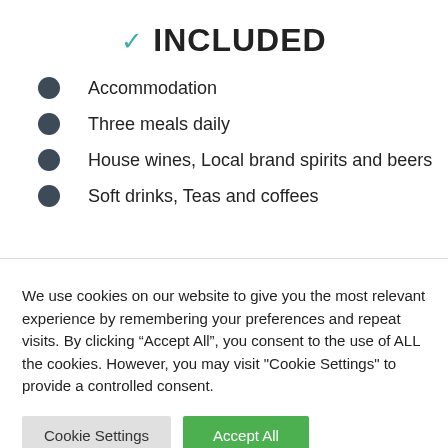✓ INCLUDED
Accommodation
Three meals daily
House wines, Local brand spirits and beers
Soft drinks, Teas and coffees
We use cookies on our website to give you the most relevant experience by remembering your preferences and repeat visits. By clicking "Accept All", you consent to the use of ALL the cookies. However, you may visit "Cookie Settings" to provide a controlled consent.